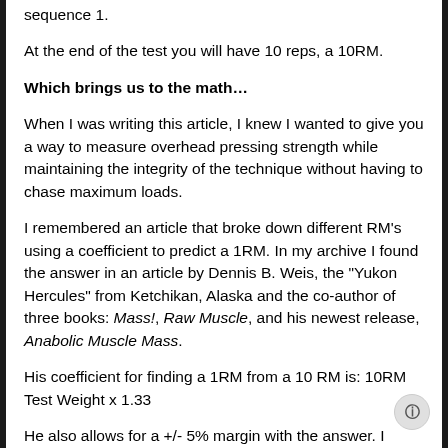sequence 1.
At the end of the test you will have 10 reps, a 10RM.
Which brings us to the math…
When I was writing this article, I knew I wanted to give you a way to measure overhead pressing strength while maintaining the integrity of the technique without having to chase maximum loads.
I remembered an article that broke down different RM's using a coefficient to predict a 1RM. In my archive I found the answer in an article by Dennis B. Weis, the "Yukon Hercules" from Ketchikan, Alaska and the co-author of three books: Mass!, Raw Muscle, and his newest release, Anabolic Muscle Mass.
His coefficient for finding a 1RM from a 10 RM is: 10RM Test Weight x 1.33
He also allows for a +/- 5% margin with the answer. I believe that using an unstable implement or